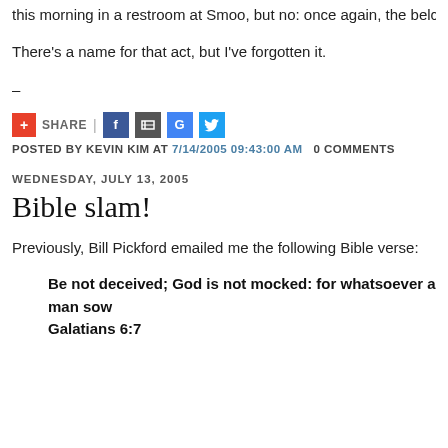this morning in a restroom at Smoo, but no: once again, the belch cam
There's a name for that act, but I've forgotten it.
–
[Figure (other): Share bar with social media icons: red plus/SHARE button, Facebook, Digg, Google, Twitter]
POSTED BY KEVIN KIM AT 7/14/2005 09:43:00 AM   0 COMMENTS
WEDNESDAY, JULY 13, 2005
Bible slam!
Previously, Bill Pickford emailed me the following Bible verse:
Be not deceived; God is not mocked: for whatsoever a man sow
Galatians 6:7